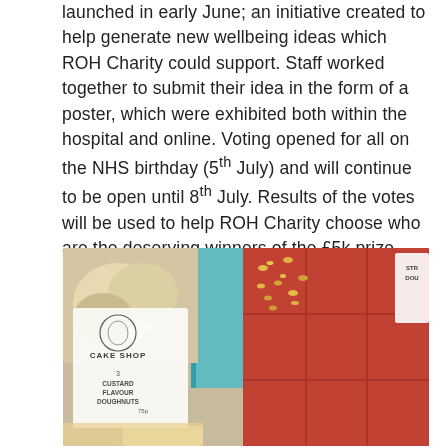launched in early June; an initiative created to help generate new wellbeing ideas which ROH Charity could support. Staff worked together to submit their idea in the form of a poster, which were exhibited both within the hospital and online. Voting opened for all on the NHS birthday (5th July) and will continue to be open until 8th July. Results of the votes will be used to help ROH Charity choose who are the deserving winners of the £5k prize.
[Figure (photo): A box of packaged baked goods including doughnuts labelled 'Custard Flavour Doughnuts' from a Cake Shop, and red chocolate bars with yellow toppings, with other items in the background.]